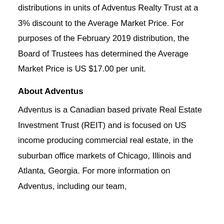distributions in units of Adventus Realty Trust at a 3% discount to the Average Market Price. For purposes of the February 2019 distribution, the Board of Trustees has determined the Average Market Price is US $17.00 per unit.
About Adventus
Adventus is a Canadian based private Real Estate Investment Trust (REIT) and is focused on US income producing commercial real estate, in the suburban office markets of Chicago, Illinois and Atlanta, Georgia. For more information on Adventus, including our team,